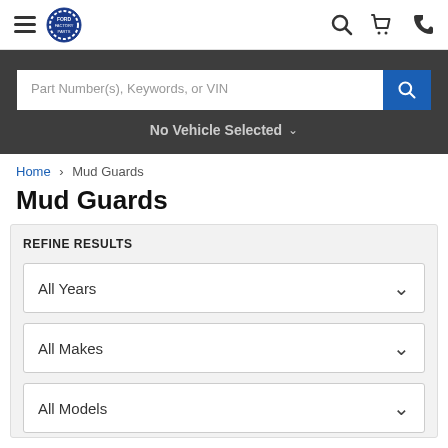[Figure (screenshot): Website navigation bar with hamburger menu, logo, search icon, cart icon, and phone icon]
Part Number(s), Keywords, or VIN
No Vehicle Selected
Home > Mud Guards
Mud Guards
REFINE RESULTS
All Years
All Makes
All Models